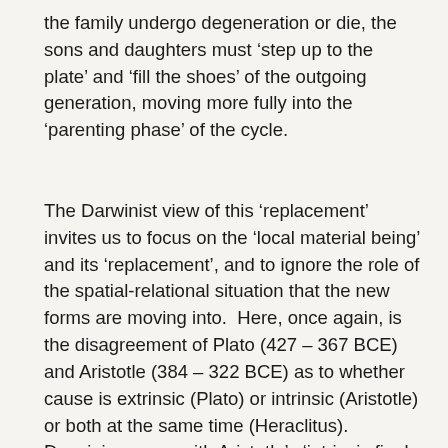the family undergo degeneration or die, the sons and daughters must ‘step up to the plate’ and ‘fill the shoes’ of the outgoing generation, moving more fully into the ‘parenting phase’ of the cycle.
The Darwinist view of this ‘replacement’ invites us to focus on the ‘local material being’ and its ‘replacement’, and to ignore the role of the spatial-relational situation that the new forms are moving into.  Here, once again, is the disagreement of Plato (427 – 367 BCE) and Aristotle (384 – 322 BCE) as to whether cause is extrinsic (Plato) or intrinsic (Aristotle) or both at the same time (Heraclitus).  Darwinism goes with Aristotle’s ‘intrinsic final cause’ as in the notional ‘acorn-to-oak-tree’ purposeful system dynamic.  The huge gap between; ‘the arrival of new forms’, and this intrinsic ‘acorn-to-oak-tree purposeful system driven reproduction’,  is synthetically ‘bridged’ in Darwinism by an arbitrary invoking of the mathematical logic of tautology: ...